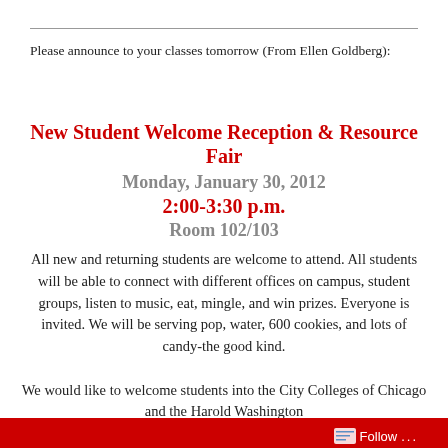Please announce to your classes tomorrow (From Ellen Goldberg):
New Student Welcome Reception & Resource Fair
Monday, January 30, 2012
2:00-3:30 p.m.
Room 102/103
All new and returning students are welcome to attend. All students will be able to connect with different offices on campus, student groups, listen to music, eat, mingle, and win prizes. Everyone is invited. We will be serving pop, water, 600 cookies, and lots of candy-the good kind.
We would like to welcome students into the City Colleges of Chicago and the Harold Washington
Follow ...